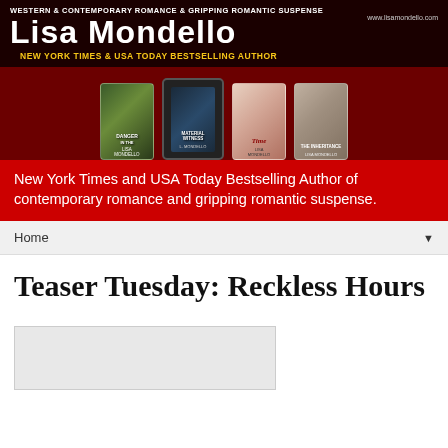[Figure (illustration): Lisa Mondello author banner with dark red background, book covers, and author name. Text reads: WESTERN & CONTEMPORARY ROMANCE & GRIPPING ROMANTIC SUSPENSE, LISA MONDELLO, www.lisamondello.com, NEW YORK TIMES & USA TODAY BESTSELLING AUTHOR. Shows four book covers on e-readers.]
New York Times and USA Today Bestselling Author of contemporary romance and gripping romantic suspense.
Home ▼
Teaser Tuesday: Reckless Hours